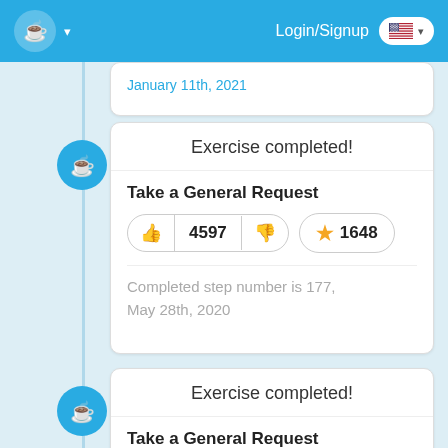Login/Signup
January 11th, 2021
Exercise completed!
Take a General Request
4597
1648
Completed step number is 177, May 28th, 2020
Exercise completed!
Take a General Request
4597
1648
Completed step number is 176,